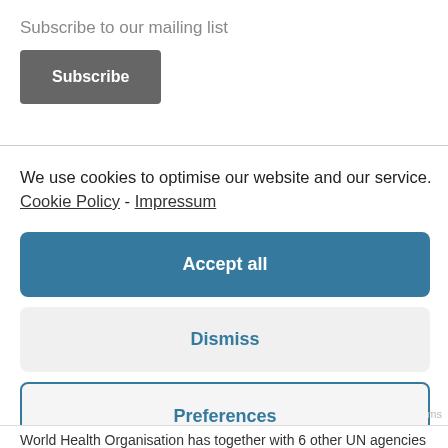Subscribe to our mailing list
Subscribe
×
We use cookies to optimise our website and our service.  Cookie Policy  -  Impressum
Accept all
Dismiss
Preferences
World Health Organisation has together with 6 other UN agencies